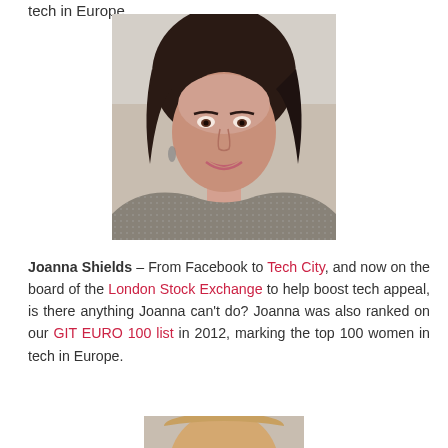tech in Europe.
[Figure (photo): Portrait photo of Joanna Shields, a dark-haired woman smiling, wearing a grey patterned jacket]
Joanna Shields – From Facebook to Tech City, and now on the board of the London Stock Exchange to help boost tech appeal, is there anything Joanna can't do? Joanna was also ranked on our GIT EURO 100 list in 2012, marking the top 100 women in tech in Europe.
[Figure (photo): Partial portrait photo of another woman at the bottom of the page]